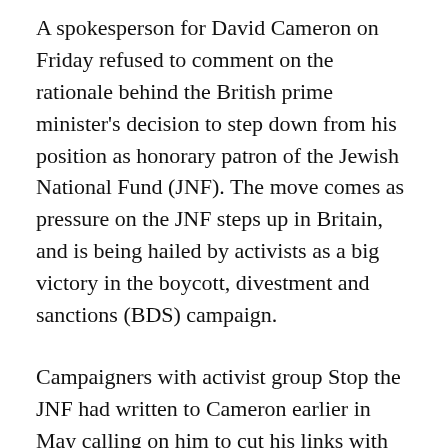A spokesperson for David Cameron on Friday refused to comment on the rationale behind the British prime minister's decision to step down from his position as honorary patron of the Jewish National Fund (JNF). The move comes as pressure on the JNF steps up in Britain, and is being hailed by activists as a big victory in the boycott, divestment and sanctions (BDS) campaign.
Campaigners with activist group Stop the JNF had written to Cameron earlier in May calling on him to cut his links with the JNF. Registered as a charity in the UK, the JNF is involved in development of illegal settlements in the Israeli-occupied West Bank, the destruction of